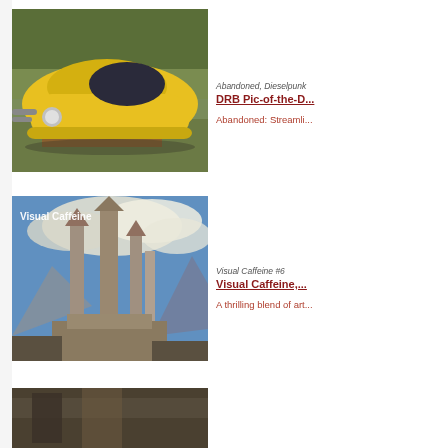[Figure (photo): Yellow streamlined/dieselpunk abandoned car lying on its side in overgrown grass and bushes]
Abandoned, Dieselpunk
DRB Pic-of-the-D...
Abandoned: Streamli...
[Figure (illustration): Fantasy illustration of tall rocky castle spires rising into dramatic cloudy sky, with text 'Visual Caffeine' overlay]
Visual Caffeine #6
Visual Caffeine,...
A thrilling blend of art...
[Figure (photo): Partially visible third image at bottom of page]